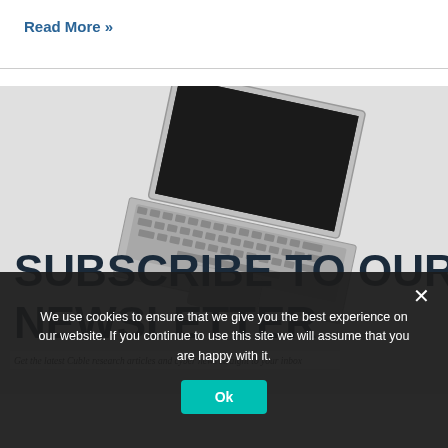Read More »
[Figure (photo): Newsletter subscription banner with a laptop image on a light grey background. Large bold uppercase text reads 'SUBSCRIBE TO OUR NEWSLETTER' with a subtitle 'Get the latest Cuble research articles and cyber news straight to your inbox'.]
We use cookies to ensure that we give you the best experience on our website. If you continue to use this site we will assume that you are happy with it.